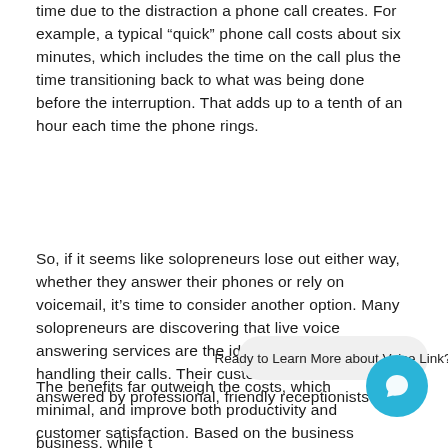time due to the distraction a phone call creates. For example, a typical “quick” phone call costs about six minutes, which includes the time on the call plus the time transitioning back to what was being done before the interruption. That adds up to a tenth of an hour each time the phone rings.
So, if it seems like solopreneurs lose out either way, whether they answer their phones or rely on voicemail, it’s time to consider another option. Many solopreneurs are discovering that live voice answering services are the ideal solution to promptly handling their calls. Their customers’ calls are answered by professional, friendly receptionists who [obscured by overlay] business, while t[obscured] focused on their business at hand.
The benefits far outweigh the costs, which [are] minimal, and improve both productivity and customer satisfaction. Based on the business...